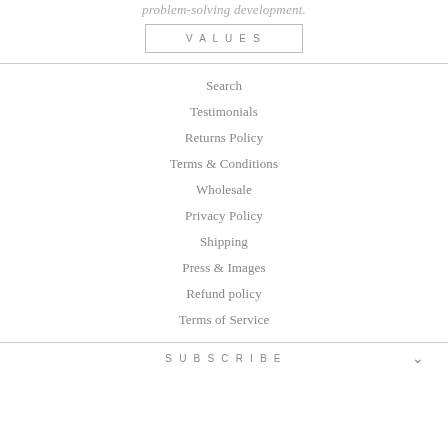problem-solving development.
VALUES
Search
Testimonials
Returns Policy
Terms & Conditions
Wholesale
Privacy Policy
Shipping
Press & Images
Refund policy
Terms of Service
SUBSCRIBE